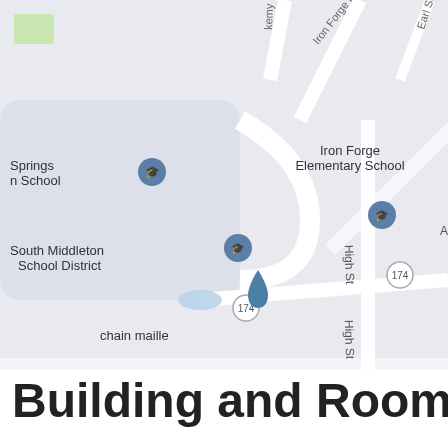[Figure (map): Google Maps screenshot showing area around Iron Forge Elementary School, South Middleton School District, Unitarian Universalists of the Cumberland Valley, Better Day Repair, Shear Advantage, chain maille, St John Lutheran, and Caffe 101. Streets visible include Arnold St, High St, W 1st St, Iron Forge Rd, Earl St. Route 174 marker visible.]
Building and Room